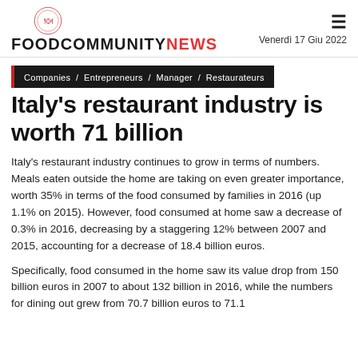FOODCOMMUNITYNEWS — Venerdì 17 Giu 2022
Companies / Entrepreneurs / Manager / Restaurateurs
Italy's restaurant industry is worth 71 billion
Italy's restaurant industry continues to grow in terms of numbers. Meals eaten outside the home are taking on even greater importance, worth 35% in terms of the food consumed by families in 2016 (up 1.1% on 2015). However, food consumed at home saw a decrease of 0.3% in 2016, decreasing by a staggering 12% between 2007 and 2015, accounting for a decrease of 18.4 billion euros.
Specifically, food consumed in the home saw its value drop from 150 billion euros in 2007 to about 132 billion in 2016, while the numbers for dining out grew from 70.7 billion euros to 71.1